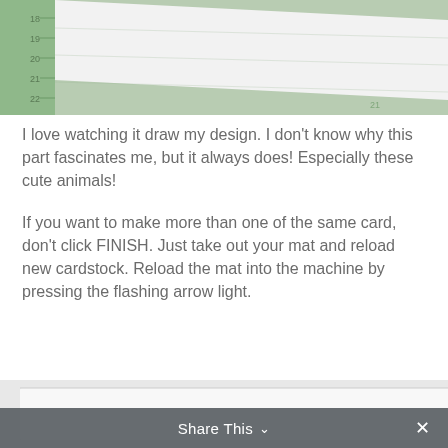[Figure (photo): Top photo showing white cardstock on a green cutting mat with ruler markings on the left side (numbers 18, 19, 20, 21, 22 visible)]
I love watching it draw my design. I don't know why this part fascinates me, but it always does! Especially these cute animals!
If you want to make more than one of the same card, don't click FINISH. Just take out your mat and reload new cardstock. Reload the mat into the machine by pressing the flashing arrow light.
[Figure (photo): Bottom photo showing a white envelope or card on a light background]
Share This ∨   ✕